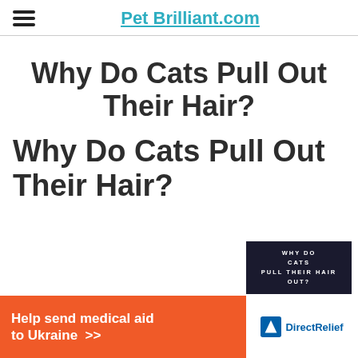Pet Brilliant.com
Why Do Cats Pull Out Their Hair?
Why Do Cats Pull Out Their Hair?
[Figure (screenshot): Dark thumbnail image with white uppercase text reading WHY DO CATS PULL THEIR HAIR OUT?]
[Figure (infographic): Orange advertisement banner reading 'Help send medical aid to Ukraine >>' with Direct Relief logo on white section]